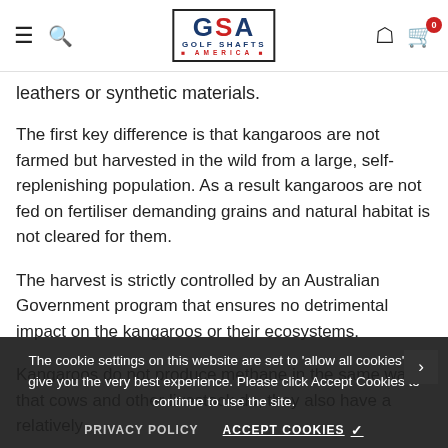GSA Golf Shafts America — navigation header with hamburger menu, search, logo, user icon, and cart (0)
leathers or synthetic materials.
The first key difference is that kangaroos are not farmed but harvested in the wild from a large, self-replenishing population. As a result kangaroos are not fed on fertiliser demanding grains and natural habitat is not cleared for them.
The harvest is strictly controlled by an Australian Government program that ensures no detrimental impact on the kangaroos or their ecosystems.
Kangaroos do not produce methane in the same way that cows and other livestock do, they also have a relatively...
Our processing facilities are located close to the kangaroos... minimising... handling.
The cookie settings on this website are set to 'allow all cookies' to give you the very best experience. Please click Accept Cookies to continue to use the site.
PRIVACY POLICY    ACCEPT COOKIES ✓